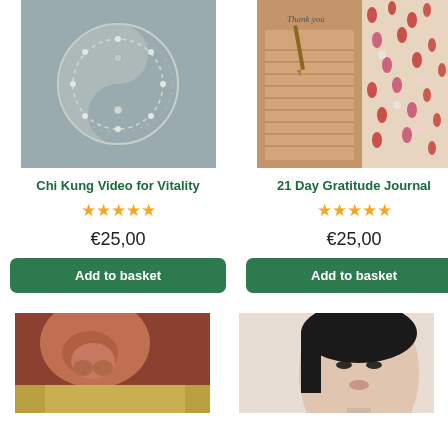[Figure (photo): Yin-yang symbol drawn in sand with a beaded bracelet/anklet]
Chi Kung Video for Vitality
★★★★★
€25,00
Add to basket
[Figure (photo): Thank you notepad with pen and floral background with red and pink flowers]
21 Day Gratitude Journal
★★★★★
€25,00
Add to basket
[Figure (photo): Close-up of a person's nose and lips near a yellow/green surface]
[Figure (photo): Close-up portrait of an Asian woman with dark hair]